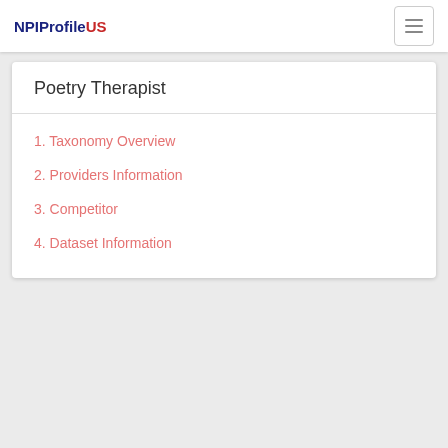NPIProfileUS
Poetry Therapist
1. Taxonomy Overview
2. Providers Information
3. Competitor
4. Dataset Information